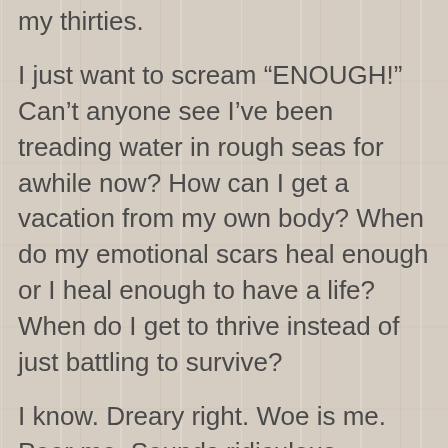my thirties.
I just want to scream “ENOUGH!” Can’t anyone see I’ve been treading water in rough seas for awhile now? How can I get a vacation from my own body? When do my emotional scars heal enough or I heal enough to have a life? When do I get to thrive instead of just battling to survive?
I know. Dreary right. Woe is me. Poor me. Sounds ridiculous.
I get it. I thank God everyday for the blessings I have in life. A fierce mama. A family that loves me. Great friends who let me vent, totally understand, and help